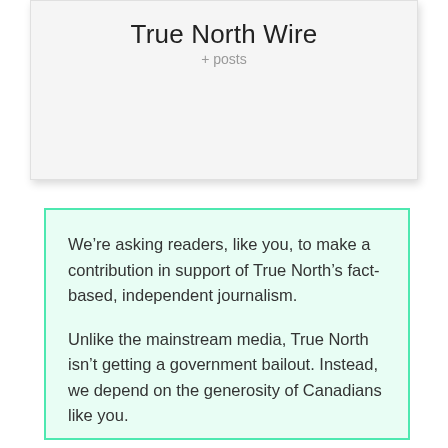True North Wire
+ posts
We’re asking readers, like you, to make a contribution in support of True North’s fact-based, independent journalism.

Unlike the mainstream media, True North isn’t getting a government bailout. Instead, we depend on the generosity of Canadians like you.